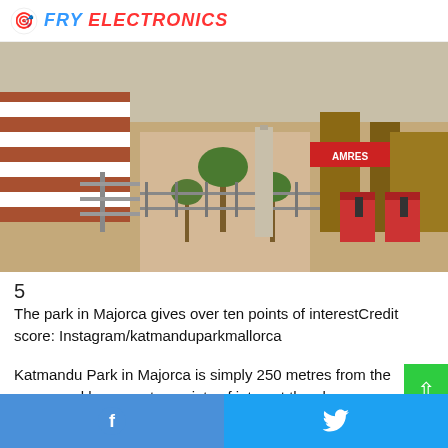FRY ELECTRONICS
[Figure (photo): Aerial view of Katmandu Park in Majorca showing themed attractions, walkways, palm trees, and wooden structures with red and white striped decor]
5
The park in Majorca gives over ten points of interestCredit score: Instagram/katmanduparkmallorca
Katmandu Park in Majorca is simply 250 metres from the ocean and has over ten points of interest the place compa…
Facebook Twitter